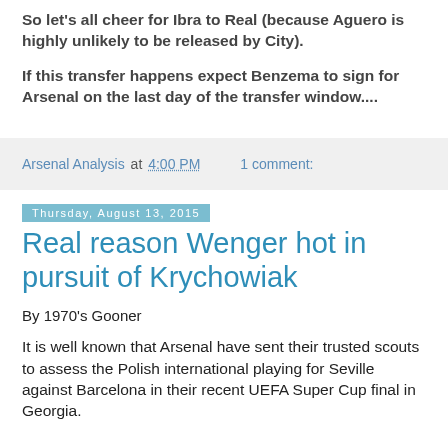So let's all cheer for Ibra to Real (because Aguero is highly unlikely to be released by City).
If this transfer happens expect Benzema to sign for Arsenal on the last day of the transfer window....
Arsenal Analysis at 4:00 PM   1 comment:
Thursday, August 13, 2015
Real reason Wenger hot in pursuit of Krychowiak
By 1970's Gooner
It is well known that Arsenal have sent their trusted scouts to assess the Polish international playing for Seville against Barcelona in their recent UEFA Super Cup final in Georgia.